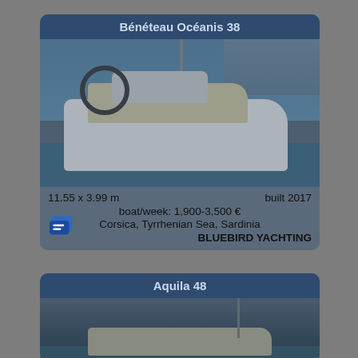Bénéteau Océanis 38
[Figure (photo): Bénéteau Océanis 38 sailboat docked at a marina, showing the cockpit, steering wheel, and white hull with teak deck, harbor buildings visible in background]
11.55 x 3.99 m    built 2017
boat/week: 1,900-3,500 €
Corsica, Tyrrhenian Sea, Sardinia
BLUEBIRD YACHTING
Aquila 48
[Figure (photo): Aquila 48 powercat boat on water, partial view]